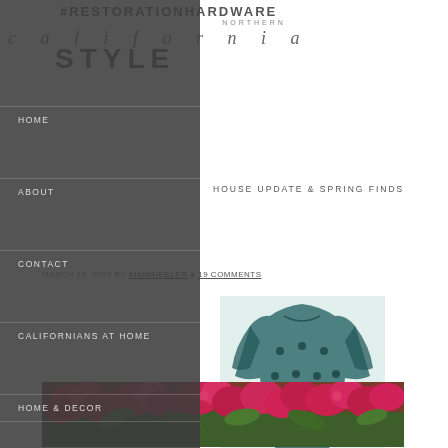#RESTORATIONHARDWARE northern california STYLE
HOME
ABOUT
CONTACT
CALIFORNIANS AT HOME
HOME & DECOR
MY CALIFORNIA CLOSET
HOUSE UPDATE & SPRING FINDS
MARCH 28, 2019 BY KIMWHEELER 19 COMMENTS
[Figure (illustration): Fashion illustration of a flowy top/blouse in dark teal with dot pattern]
[Figure (photo): Close-up photo of bright pink/magenta flowering oleander or similar blooming plant with green leaves]